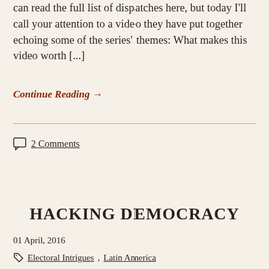can read the full list of dispatches here, but today I'll call your attention to a video they have put together echoing some of the series' themes: What makes this video worth [...]
Continue Reading →
2 Comments
HACKING DEMOCRACY
01 April, 2016
Electoral Intrigues, Latin America